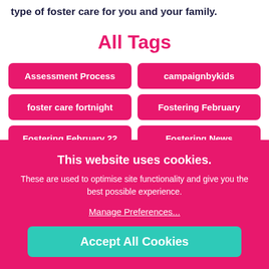type of foster care for you and your family.
All Tags
Assessment Process
campaignbykids
foster care fortnight
Fostering February
Fostering February 22
Fostering News
This website uses cookies. These are used to optimise site functionality and give you the best possible experience. Manage Preferences... Accept All Cookies